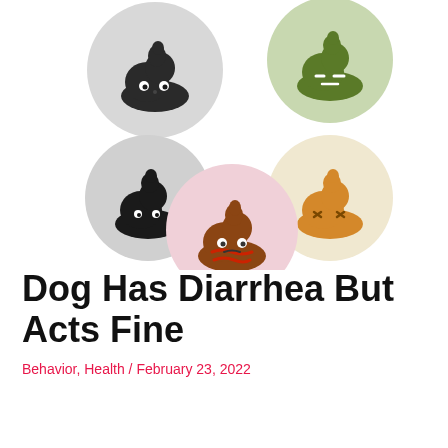[Figure (illustration): Five cartoon poop emoji illustrations in circular backgrounds arranged in a scattered pattern. Top-left: dark gray/black poop with eyes on gray circle. Top-right: green poop on light green circle. Middle-left: black poop with small eyes on light gray circle. Middle-right: orange/yellow poop with squinting eyes on cream circle. Center-bottom: brown poop with red stripes and sad eyes on pink circle.]
Dog Has Diarrhea But Acts Fine
Behavior, Health / February 23, 2022